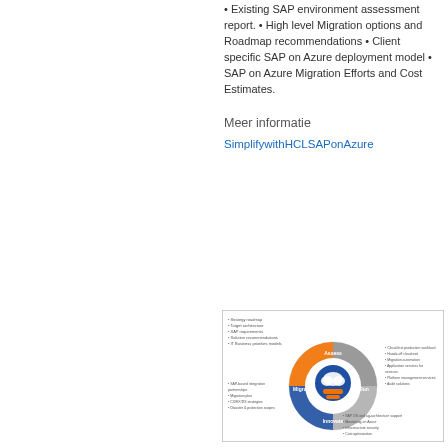• Existing SAP environment assessment report. • High level Migration options and Roadmap recommendations • Client specific SAP on Azure deployment model • SAP on Azure Migration Efforts and Cost Estimates.
Meer informatie
SimplifywithHCLSAPonAzure
[Figure (other): Donut/ring diagram showing SAP on Azure migration lifecycle stages (Assess, Migrate, Innovate, Run) with surrounding bullet point details and an Azure cloud logo in the center.]